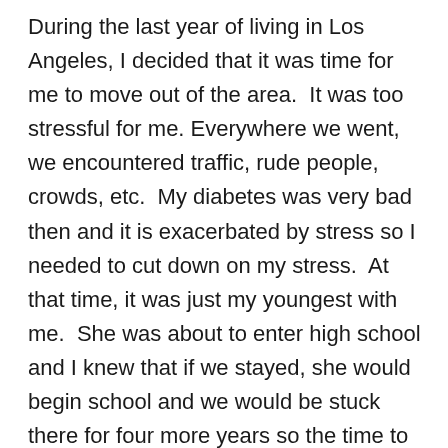During the last year of living in Los Angeles, I decided that it was time for me to move out of the area.  It was too stressful for me. Everywhere we went, we encountered traffic, rude people, crowds, etc.  My diabetes was very bad then and it is exacerbated by stress so I needed to cut down on my stress.  At that time, it was just my youngest with me.  She was about to enter high school and I knew that if we stayed, she would begin school and we would be stuck there for four more years so the time to make the move was before she entered high school.  She was home schooled for middle school so we could, theoretically, move anytime before September.  When I discussed this with her and with the older kids, Susie went ballistic. She did not want to move and leave all her friends behind.  She said she wanted to go to the performing arts high school.  She had mentioned this previously but I didn't